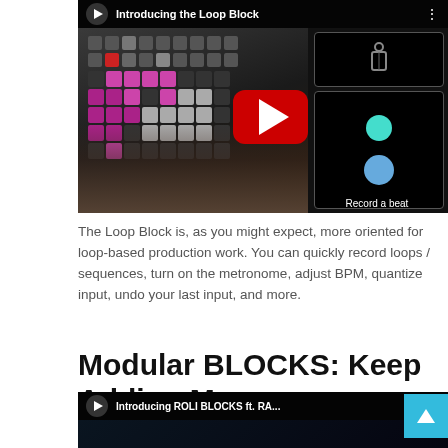[Figure (screenshot): YouTube video thumbnail for 'Introducing the Loop Block' showing a Launchpad controller with hands playing it, a YouTube play button overlay, and a right panel showing a metronome interface with 'Record a beat' label.]
The Loop Block is, as you might expect, more oriented for loop-based production work. You can quickly record loops / sequences, turn on the metronome, adjust BPM, quantize input, undo your last input, and more.
Modular BLOCKS: Keep Adding More
[Figure (screenshot): Partial YouTube video thumbnail for 'Introducing ROLI BLOCKS ft. RA...' showing a dark background.]